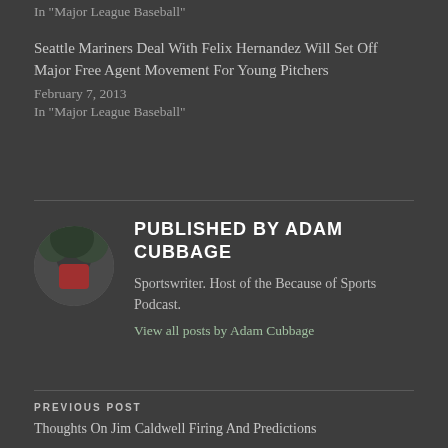In "Major League Baseball"
Seattle Mariners Deal With Felix Hernandez Will Set Off Major Free Agent Movement For Young Pitchers
February 7, 2013
In "Major League Baseball"
PUBLISHED BY ADAM CUBBAGE
Sportswriter. Host of the Because of Sports Podcast.
View all posts by Adam Cubbage
PREVIOUS POST
Thoughts On Jim Caldwell Firing And Predictions